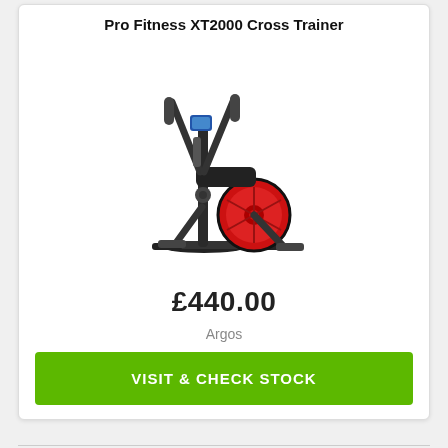Pro Fitness XT2000 Cross Trainer
[Figure (photo): Pro Fitness XT2000 Cross Trainer elliptical machine, black with red flywheel, angled view showing handlebars and console]
£440.00
Argos
VISIT & CHECK STOCK